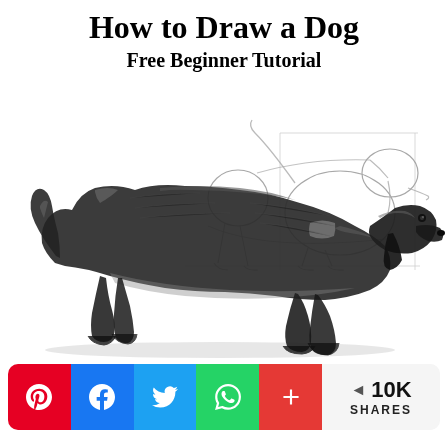How to Draw a Dog
Free Beginner Tutorial
[Figure (illustration): Tutorial image showing pencil sketch construction lines of a dachshund dog on top, and a detailed realistic pencil drawing of a dachshund below]
< 10K SHARES (Pinterest, Facebook, Twitter, WhatsApp, More share buttons)